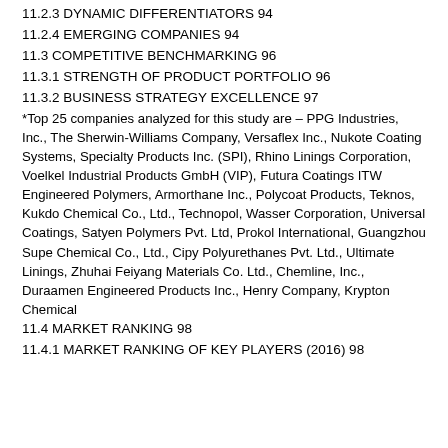11.2.3 DYNAMIC DIFFERENTIATORS 94
11.2.4 EMERGING COMPANIES 94
11.3 COMPETITIVE BENCHMARKING 96
11.3.1 STRENGTH OF PRODUCT PORTFOLIO 96
11.3.2 BUSINESS STRATEGY EXCELLENCE 97
*Top 25 companies analyzed for this study are – PPG Industries, Inc., The Sherwin-Williams Company, Versaflex Inc., Nukote Coating Systems, Specialty Products Inc. (SPI), Rhino Linings Corporation, Voelkel Industrial Products GmbH (VIP), Futura Coatings ITW Engineered Polymers, Armorthane Inc., Polycoat Products, Teknos, Kukdo Chemical Co., Ltd., Technopol, Wasser Corporation, Universal Coatings, Satyen Polymers Pvt. Ltd, Prokol International, Guangzhou Supe Chemical Co., Ltd., Cipy Polyurethanes Pvt. Ltd., Ultimate Linings, Zhuhai Feiyang Materials Co. Ltd., Chemline, Inc., Duraamen Engineered Products Inc., Henry Company, Krypton Chemical
11.4 MARKET RANKING 98
11.4.1 MARKET RANKING OF KEY PLAYERS (2016) 98